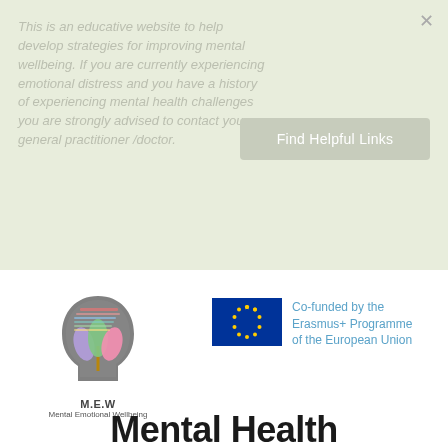This is an educative website to help develop strategies for improving mental wellbeing. If you are currently experiencing emotional distress and you have a history of experiencing mental health challenges you are strongly advised to contact your general practitioner /doctor.
Find Helpful Links
[Figure (logo): M.E.W Mental Emotional Wellbeing logo — silhouette of a head with a colourful tree growing inside, with text labels and a small chart, grey outline style]
M.E.W
Mental Emotional Wellbeing
[Figure (logo): European Union flag — blue rectangle with a circle of 12 gold stars]
Co-funded by the Erasmus+ Programme of the European Union
Mental Health